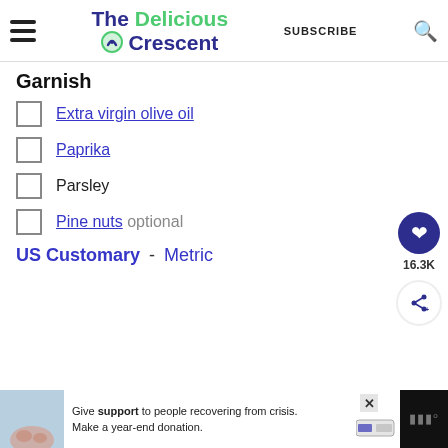The Delicious Crescent — SUBSCRIBE
Garnish
Extra virgin olive oil
Paprika
Parsley
Pine nuts optional
US Customary - Metric